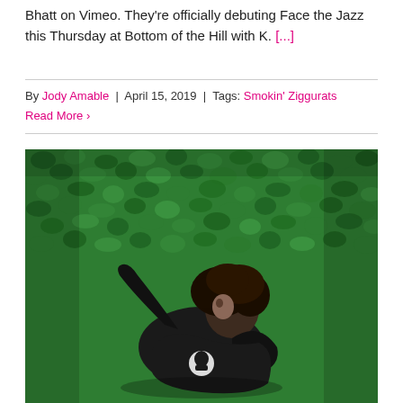Bhatt on Vimeo. They're officially debuting Face the Jazz this Thursday at Bottom of the Hill with K. [...]
By Jody Amable | April 15, 2019 | Tags: Smokin' Ziggurats
Read More ›
[Figure (photo): A person with curly dark hair wearing a black leather jacket and black t-shirt with a skull graphic, lying on a background of green hedge/moss wall.]